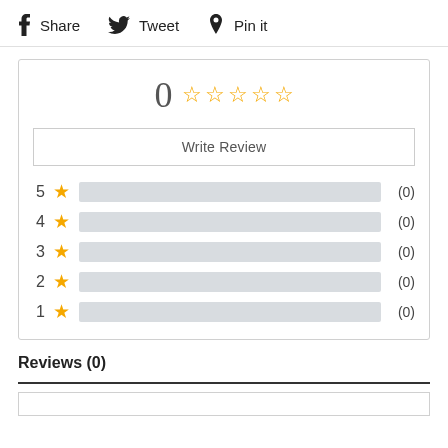f Share   🐦 Tweet   📌 Pin it
[Figure (other): Rating widget showing 0 score with 5 empty stars, a Write Review button, and 5 rating bars (5 star through 1 star) each showing (0) reviews]
Reviews (0)